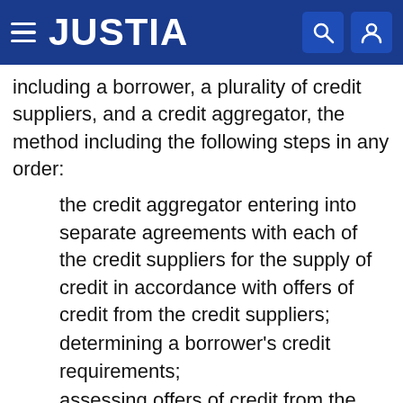JUSTIA
including a borrower, a plurality of credit suppliers, and a credit aggregator, the method including the following steps in any order:
the credit aggregator entering into separate agreements with each of the credit suppliers for the supply of credit in accordance with offers of credit from the credit suppliers;
determining a borrower's credit requirements;
assessing offers of credit from the credit suppliers to determine a suitable combination of credit offers to meet the needs of the borrower;
the method subsequently including the following steps of:
the credit aggregator entering into at least one agreement with the borrower to provide the suitable combination of offers, the relevant part of